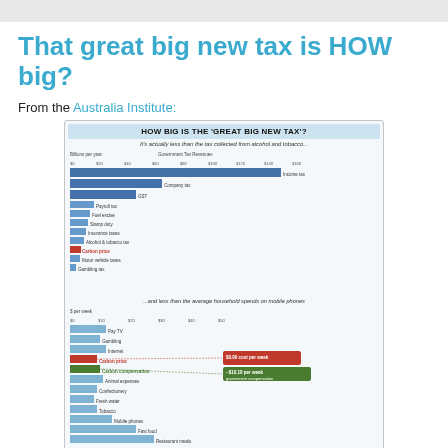That great big new tax is HOW big?
From the Australia Institute:
[Figure (bar-chart): Top horizontal bar chart showing government tax revenues, with Carbon price highlighted in red. Bottom horizontal bar chart showing $ per week household spending with Carbon price in red and Carbon compensation in green.]